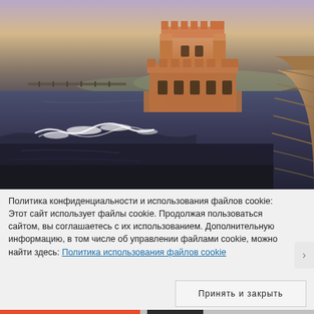[Figure (photo): Photograph of the Tower of Belem (Torre de Belém) in Lisbon, Portugal at dusk/sunset. The medieval fortified tower stands in water, illuminated by warm golden-orange light. Waves splash in the foreground. Purple-blue sky in background with hills visible across the water.]
Политика конфиденциальности и использования файлов cookie: Этот сайт использует файлы cookie. Продолжая пользоваться сайтом, вы соглашаетесь с их использованием. Дополнительную информацию, в том числе об управлении файлами cookie, можно найти здесь: Политика использования файлов cookie
Принять и закрыть